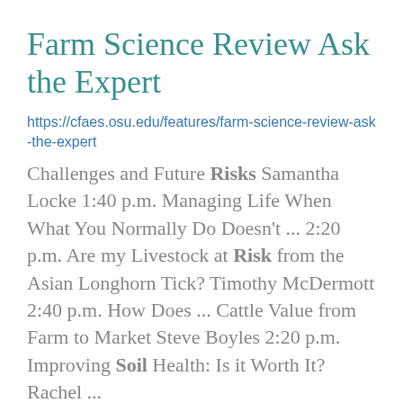Farm Science Review Ask the Expert
https://cfaes.osu.edu/features/farm-science-review-ask-the-expert
Challenges and Future Risks Samantha Locke 1:40 p.m. Managing Life When What You Normally Do Doesn't ... 2:20 p.m. Are my Livestock at Risk from the Asian Longhorn Tick? Timothy McDermott 2:40 p.m. How Does ... Cattle Value from Farm to Market Steve Boyles 2:20 p.m. Improving Soil Health: Is it Worth It? Rachel ...